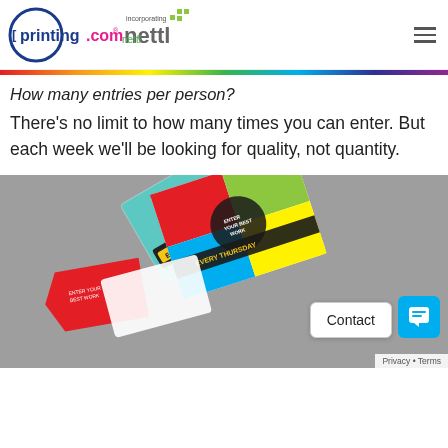printing.com incorporating nettl
How many entries per person?
There’s no limit to how many times you can enter. But each week we’ll be looking for quality, not quantity.
[Figure (photo): Colourful printed promotional cards fanned out on a grey surface, showing vibrant multi-colour graphic designs.]
Contact | Privacy • Terms